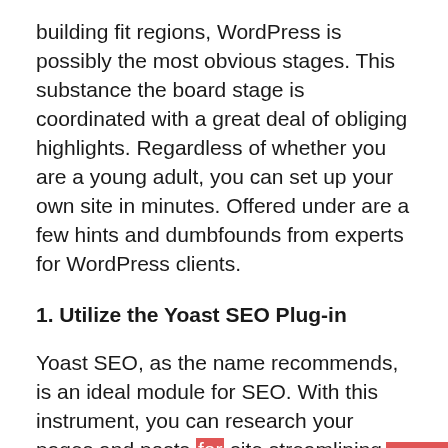building fit regions, WordPress is possibly the most obvious stages. This substance the board stage is coordinated with a great deal of obliging highlights. Regardless of whether you are a young adult, you can set up your own site in minutes. Offered under are a few hints and dumbfounds from experts for WordPress clients.
1. Utilize the Yoast SEO Plug-in
Yoast SEO, as the name recommends, is an ideal module for SEO. With this instrument, you can research your pages and posts for site streamlining. This module can overview